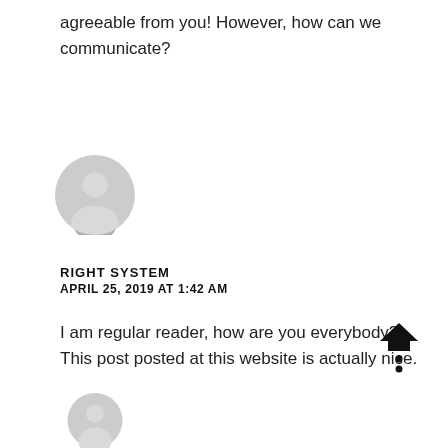agreeable from you! However, how can we communicate?
[Figure (illustration): Generic user avatar - grey silhouette of a person in a circle]
RIGHT SYSTEM
APRIL 25, 2019 AT 1:42 AM
I am regular reader, how are you everybody? This post posted at this website is actually nice.
[Figure (illustration): Scroll-to-top icon: house/chevron shape with dots below]
[Figure (illustration): Partial generic user avatar at bottom of page]